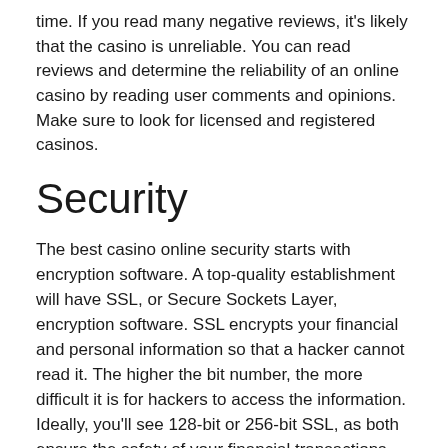time. If you read many negative reviews, it's likely that the casino is unreliable. You can read reviews and determine the reliability of an online casino by reading user comments and opinions. Make sure to look for licensed and registered casinos.
Security
The best casino online security starts with encryption software. A top-quality establishment will have SSL, or Secure Sockets Layer, encryption software. SSL encrypts your financial and personal information so that a hacker cannot read it. The higher the bit number, the more difficult it is for hackers to access the information. Ideally, you'll see 128-bit or 256-bit SSL, as both ensure the safety of your financial transactions and your personal information.
In addition to security software, online casinos should also incorporate data encryption. Data encryption scrambles data into unbreakable codes that can only be read by the